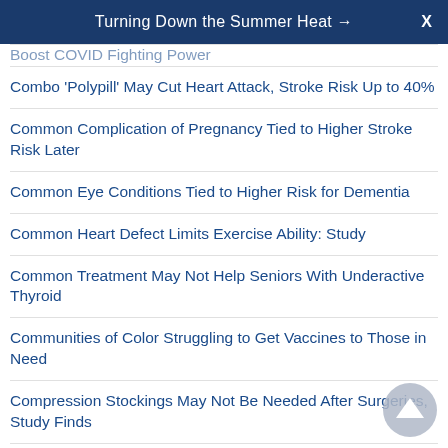Turning Down the Summer Heat →  X
Boost COVID Fighting Power
Combo 'Polypill' May Cut Heart Attack, Stroke Risk Up to 40%
Common Complication of Pregnancy Tied to Higher Stroke Risk Later
Common Eye Conditions Tied to Higher Risk for Dementia
Common Heart Defect Limits Exercise Ability: Study
Common Treatment May Not Help Seniors With Underactive Thyroid
Communities of Color Struggling to Get Vaccines to Those in Need
Compression Stockings May Not Be Needed After Surgeries, Study Finds
Computer 'Nudge' Spurs Doctors to Prescribe